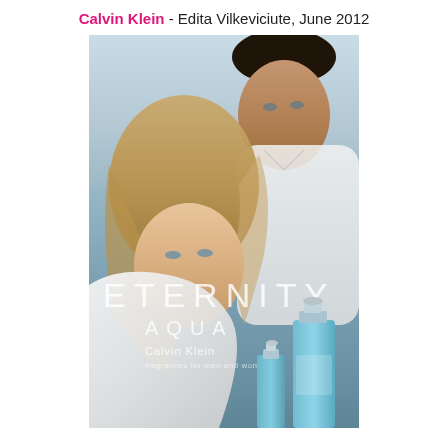Calvin Klein - Edita Vilkeviciute, June 2012
[Figure (photo): Calvin Klein Eternity Aqua fragrance advertisement featuring male and female models (Edita Vilkeviciute) in white clothing against a light blue background, with ETERNITY AQUA Calvin Klein branding and two aqua-colored perfume bottles in the bottom right corner.]